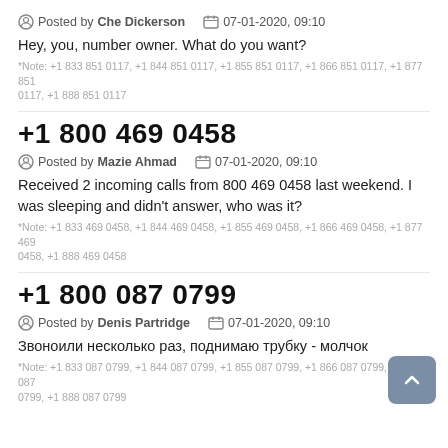Posted by Che Dickerson   07-01-2020, 09:10
Hey, you, number owner. What do you want?
*Note: +1 833 851 0117, +1 844 851 0117, +1 855 851 0117, +1 866 851 0117, +1 877 851 0117, +1 888 851 0117
+1 800 469 0458
Posted by Mazie Ahmad   07-01-2020, 09:10
Received 2 incoming calls from 800 469 0458 last weekend. I was sleeping and didn't answer, who was it?
*Note: +1 833 469 0458, +1 844 469 0458, +1 855 469 0458, +1 866 469 0458, +1 877 469 0458, +1 888 469 0458
+1 800 087 0799
Posted by Denis Partridge   07-01-2020, 09:10
Звоноили несколько раз, поднимаю трубку - молчок
*Note: +1 833 087 0799, +1 844 087 0799, +1 855 087 0799, +1 866 087 0799, +1 877 087 0799, +1 888 087 0799